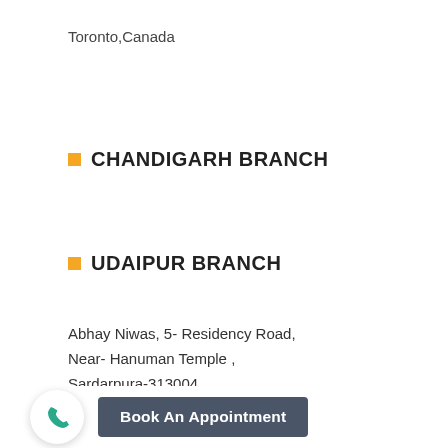Toronto,Canada
CHANDIGARH BRANCH
UDAIPUR BRANCH
Abhay Niwas, 5- Residency Road,
Near- Hanuman Temple ,
Sardarpura-313004,
Udaipur, Rajasthan
Book An Appointment